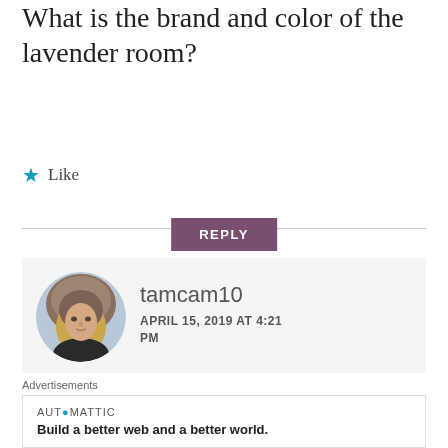What is the brand and color of the lavender room?
★ Like
REPLY
[Figure (photo): Circular avatar photo of user tamcam10, a woman wearing a fur-trimmed hood outdoors in winter]
tamcam10
APRIL 15, 2019 AT 4:21 PM
Hi Reagan it looks like the color is Purple Essence by Clark & Kensington. I have added a link to
Advertisements
AUTOMATTIC
Build a better web and a better world.